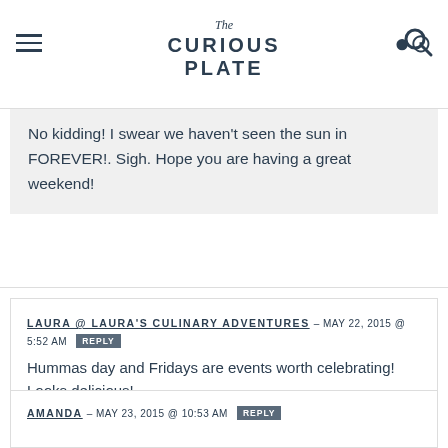The Curious Plate
No kidding! I swear we haven't seen the sun in FOREVER!. Sigh. Hope you are having a great weekend!
LAURA @ LAURA'S CULINARY ADVENTURES – MAY 22, 2015 @ 5:52 AM REPLY
Hummas day and Fridays are events worth celebrating! Looks delicious!
AMANDA – MAY 23, 2015 @ 10:53 AM REPLY